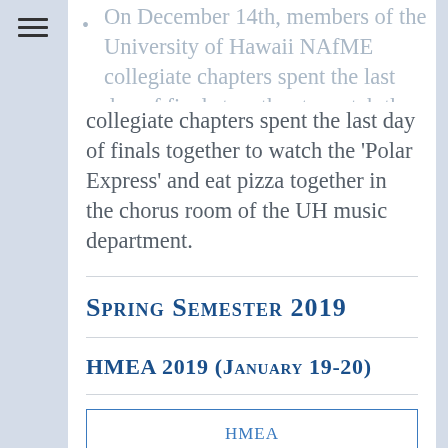On December 14th, members of the University of Hawaii NAfME collegiate chapters spent the last day of finals together to watch the 'Polar Express' and eat pizza together in the chorus room of the UH music department.
Spring Semester 2019
HMEA 2019 (January 19-20)
HMEA